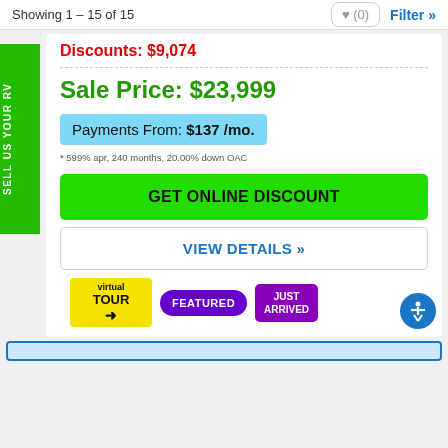Showing 1 – 15 of 15
Discounts: $9,074
Sale Price: $23,999
Payments From: $137 /mo.
* 599% apr, 240 months, 20.00% down OAC
GET ONLINE DISCOUNT
VIEW DETAILS »
[Figure (infographic): Three badges: virtual TOUR (yellow), FEATURED (purple pill), JUST ARRIVED (purple starburst)]
SELL US YOUR RV